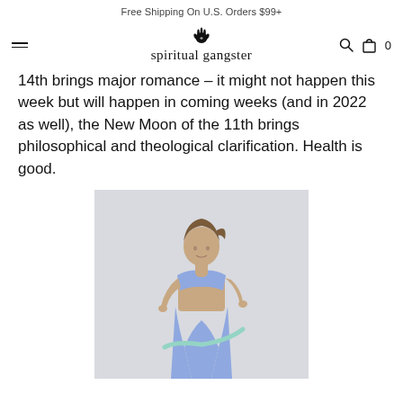Free Shipping On U.S. Orders $99+
[Figure (logo): Spiritual Gangster brand logo with hamsa hand icon and cursive script wordmark]
14th brings major romance — it might not happen this week but will happen in coming weeks (and in 2022 as well), the New Moon of the 11th brings philosophical and theological clarification. Health is good.
[Figure (photo): Woman wearing periwinkle/lavender blue sports bra and high-waist leggings, using a resistance band, light grey background]